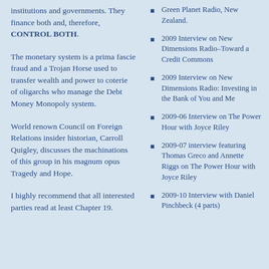institutions and governments. They finance both and, therefore, CONTROL BOTH.
The monetary system is a prima fascie fraud and a Trojan Horse used to transfer wealth and power to coterie of oligarchs who manage the Debt Money Monopoly system.
World renown Council on Foreign Relations insider historian, Carroll Quigley, discusses the machinations of this group in his magnum opus Tragedy and Hope.
I highly recommend that all interested parties read at least Chapter 19.
Green Planet Radio, New Zealand.
2009 Interview on New Dimensions Radio–Toward a Credit Commons
2009 Interview on New Dimensions Radio: Investing in the Bank of You and Me
2009-06 Interview on The Power Hour with Joyce Riley
2009-07 interview featuring Thomas Greco and Annette Riggs on The Power Hour with Joyce Riley
2009-10 Interview with Daniel Pinchbeck (4 parts)